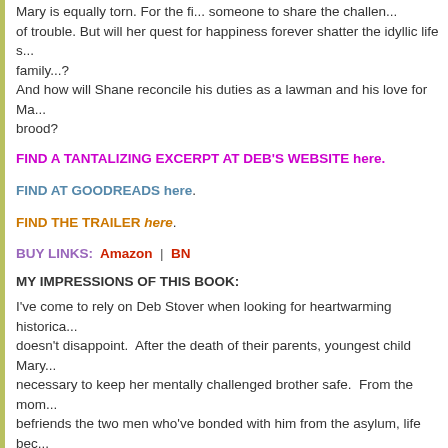Mary is equally torn. For the fi... someone to share the challen... of trouble. But will her quest for happiness forever shatter the idyllic life s... family...? And how will Shane reconcile his duties as a lawman and his love for Ma... brood?
FIND A TANTALIZING EXCERPT AT DEB'S WEBSITE here.
FIND AT GOODREADS here.
FIND THE TRAILER here.
BUY LINKS: Amazon | BN
MY IMPRESSIONS OF THIS BOOK:
I've come to rely on Deb Stover when looking for heartwarming historica... doesn't disappoint. After the death of their parents, youngest child Mary... necessary to keep her mentally challenged brother safe. From the mom... befriends the two men who've bonded with him from the asylum, life bec... while secluding themselves in the forest living a life like their storybook h... support and protect each other while trying to hold the future from outsid... save their idyllic haven. Cruel men, faces from their pasts, and a handsc... chance for her own future, soon invade creating heartbreak and life...